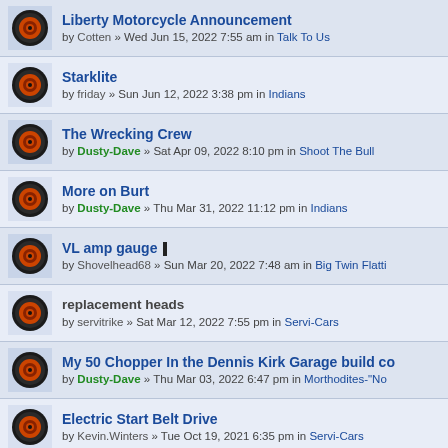Liberty Motorcycle Announcement by Cotten » Wed Jun 15, 2022 7:55 am in Talk To Us
Starklite by friday » Sun Jun 12, 2022 3:38 pm in Indians
The Wrecking Crew by Dusty-Dave » Sat Apr 09, 2022 8:10 pm in Shoot The Bull
More on Burt by Dusty-Dave » Thu Mar 31, 2022 11:12 pm in Indians
VL amp gauge by Shovelhead68 » Sun Mar 20, 2022 7:48 am in Big Twin Flatti
replacement heads by servitrike » Sat Mar 12, 2022 7:55 pm in Servi-Cars
My 50 Chopper In the Dennis Kirk Garage build co by Dusty-Dave » Thu Mar 03, 2022 6:47 pm in Morthodites-"No
Electric Start Belt Drive by Kevin.Winters » Tue Oct 19, 2021 6:35 pm in Servi-Cars
The part of The Indian Wrecking Crew that got cu by Dusty-Dave » Thu Apr 22, 2021 10:52 pm in Indians
dual points plate, cam. Cone motor by Tonymanx » Mon Feb 08, 2021 12:44 am in Evo's Thru 99
dual points plate, cam. Cone motor (partial)